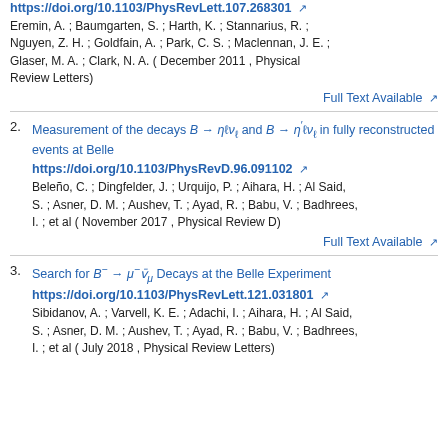https://doi.org/10.1103/PhysRevLett.107.268301
Eremin, A. ; Baumgarten, S. ; Harth, K. ; Stannarius, R. ; Nguyen, Z. H. ; Goldfain, A. ; Park, C. S. ; Maclennan, J. E. ; Glaser, M. A. ; Clark, N. A. ( December 2011 , Physical Review Letters)
Full Text Available
2. Measurement of the decays B → ηℓν_ℓ and B → η′ℓν_ℓ in fully reconstructed events at Belle
https://doi.org/10.1103/PhysRevD.96.091102
Beleño, C. ; Dingfelder, J. ; Urquijo, P. ; Aihara, H. ; Al Said, S. ; Asner, D. M. ; Aushev, T. ; Ayad, R. ; Babu, V. ; Badhrees, I. ; et al ( November 2017 , Physical Review D)
Full Text Available
3. Search for B⁻ → μ⁻ν̄_μ Decays at the Belle Experiment
https://doi.org/10.1103/PhysRevLett.121.031801
Sibidanov, A. ; Varvell, K. E. ; Adachi, I. ; Aihara, H. ; Al Said, S. ; Asner, D. M. ; Aushev, T. ; Ayad, R. ; Babu, V. ; Badhrees, I. ; et al ( July 2018 , Physical Review Letters)